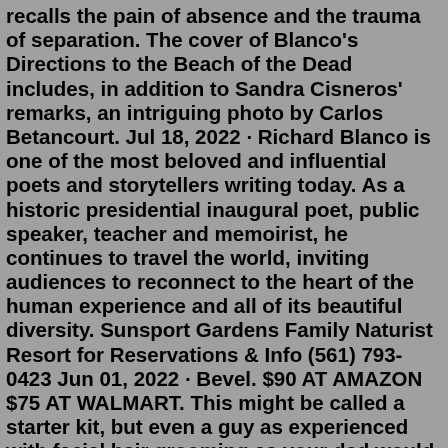recalls the pain of absence and the trauma of separation. The cover of Blanco's Directions to the Beach of the Dead includes, in addition to Sandra Cisneros' remarks, an intriguing photo by Carlos Betancourt. Jul 18, 2022 · Richard Blanco is one of the most beloved and influential poets and storytellers writing today. As a historic presidential inaugural poet, public speaker, teacher and memoirist, he continues to travel the world, inviting audiences to reconnect to the heart of the human experience and all of its beautiful diversity. Sunsport Gardens Family Naturist Resort for Reservations & Info (561) 793-0423 Jun 01, 2022 · Bevel. $90 AT AMAZON $75 AT WALMART. This might be called a starter kit, but even a guy as experienced with facial hair grooming as your dad would love a set of shaving essentials like this ... Feb 03, 2022 · Posted: Feb 3, 2022 / 12:06 PM CST. Updated: Feb 4, 2022 / 04:13 PM CST. AUSTIN (KXAN) — Winter weather has settled in Central Texas, leaving surfaces covered with thick layers of ice. KXAN ... Benny Blanco is a composer and actor.